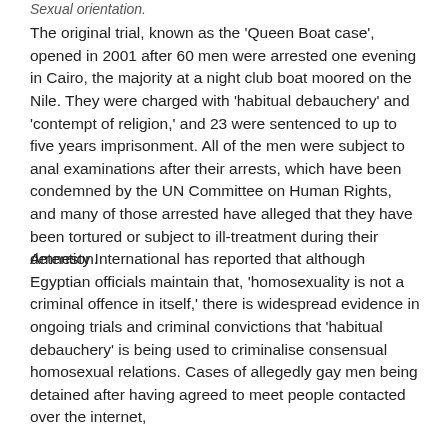Sexual orientation.
The original trial, known as the 'Queen Boat case', opened in 2001 after 60 men were arrested one evening in Cairo, the majority at a night club boat moored on the Nile. They were charged with 'habitual debauchery' and 'contempt of religion,' and 23 were sentenced to up to five years imprisonment. All of the men were subject to anal examinations after their arrests, which have been condemned by the UN Committee on Human Rights, and many of those arrested have alleged that they have been tortured or subject to ill-treatment during their detention.
Amnesty International has reported that although Egyptian officials maintain that, 'homosexuality is not a criminal offence in itself,' there is widespread evidence in ongoing trials and criminal convictions that 'habitual debauchery' is being used to criminalise consensual homosexual relations. Cases of allegedly gay men being detained after having agreed to meet people contacted over the internet,